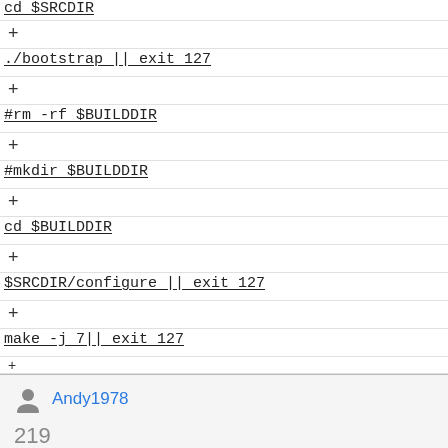cd $SRCDIR (partial, top)
+ ./bootstrap || exit 127
+ #rm -rf $BUILDDIR
+ #mkdir $BUILDDIR
+ cd $BUILDDIR
+ $SRCDIR/configure || exit 127
+ make -j 7|| exit 127
Andy1978
219 EDITS